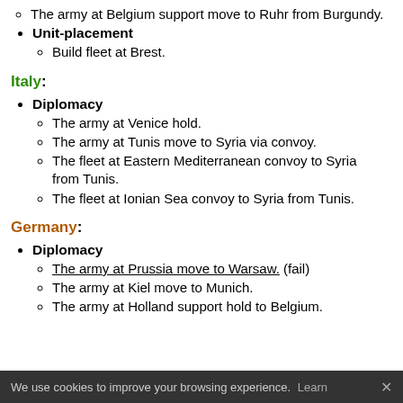The army at Belgium support move to Ruhr from Burgundy.
Unit-placement
Build fleet at Brest.
Italy:
Diplomacy
The army at Venice hold.
The army at Tunis move to Syria via convoy.
The fleet at Eastern Mediterranean convoy to Syria from Tunis.
The fleet at Ionian Sea convoy to Syria from Tunis.
Germany:
Diplomacy
The army at Prussia move to Warsaw. (fail)
The army at Kiel move to Munich.
The army at Holland support hold to Belgium.
We use cookies to improve your browsing experience. Learn ✕